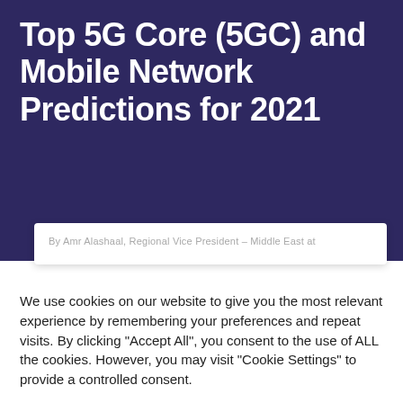Top 5G Core (5GC) and Mobile Network Predictions for 2021
By Amr Alashaal, Regional Vice President – Middle East at
We use cookies on our website to give you the most relevant experience by remembering your preferences and repeat visits. By clicking "Accept All", you consent to the use of ALL the cookies. However, you may visit "Cookie Settings" to provide a controlled consent.
Cookie Settings   Accept All